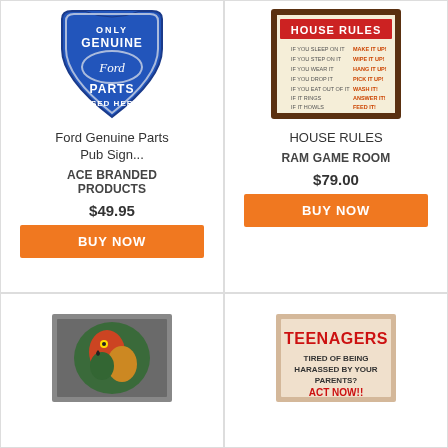[Figure (photo): Ford Genuine Parts pub sign - blue shield-shaped sign with oval Ford logo]
Ford Genuine Parts Pub Sign...
ACE BRANDED PRODUCTS
$49.95
BUY NOW
[Figure (photo): House Rules decorative sign in wooden frame with red and orange text]
HOUSE RULES
RAM GAME ROOM
$79.00
BUY NOW
[Figure (photo): Decorative sign with parrot illustration in grey frame]
[Figure (photo): Teenagers sign - text reads TEENAGERS TIRED OF BEING HARASSED BY YOUR PARENTS? ACT NOW!!]